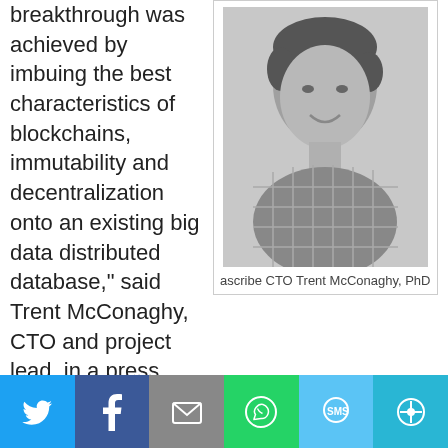breakthrough was achieved by imbuing the best characteristics of blockchains, immutability and decentralization onto an existing big data distributed database," said Trent McConaghy, CTO and project lead, in a press release sent to CoinReport.
[Figure (photo): Black and white headshot photo of ascribe CTO Trent McConaghy, PhD, a man in a plaid shirt smiling]
ascribe CTO Trent McConaghy, PhD
“In conversations with the community, the emphasis seemed to be on scaling up blockchains. We came to realize that a distributed...
[Figure (infographic): Social media share bar with Twitter, Facebook, Email, WhatsApp, SMS, and More buttons]